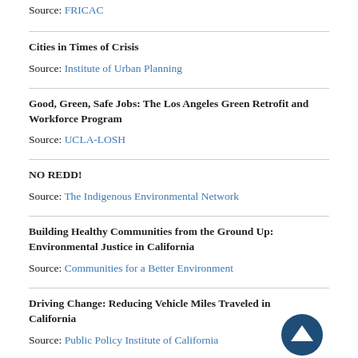Source: FRICAC
Cities in Times of Crisis
Source: Institute of Urban Planning
Good, Green, Safe Jobs: The Los Angeles Green Retrofit and Workforce Program
Source: UCLA-LOSH
NO REDD!
Source: The Indigenous Environmental Network
Building Healthy Communities from the Ground Up: Environmental Justice in California
Source: Communities for a Better Environment
Driving Change: Reducing Vehicle Miles Traveled in California
Source: Public Policy Institute of California